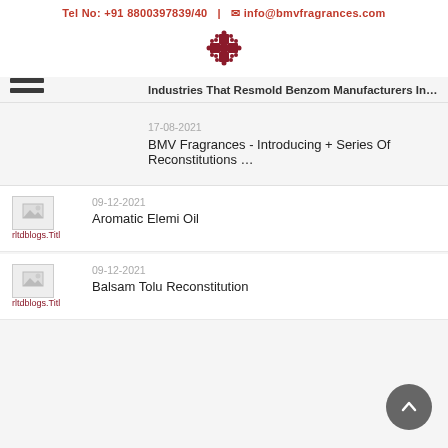Tel No: +91 8800397839/40 | info@bmvfragrances.com
[Figure (logo): BMV Fragrances decorative cross/knot logo in dark red]
Industries That Resmold Benzom Manufacturers In India Ser…
17-08-2021
BMV Fragrances - Introducing + Series Of Reconstitutions …
[Figure (photo): Thumbnail image placeholder with label rltdblogs.Titl]
09-12-2021
Aromatic Elemi Oil
[Figure (photo): Thumbnail image placeholder with label rltdblogs.Titl]
09-12-2021
Balsam Tolu Reconstitution